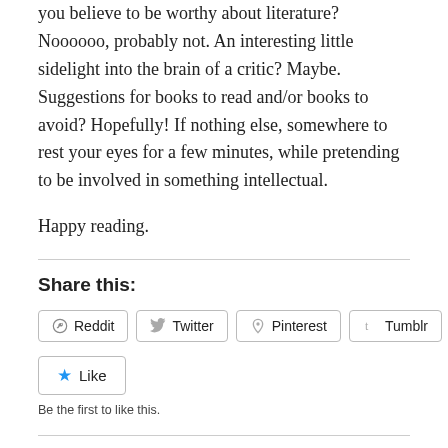you believe to be worthy about literature? Noooooo, probably not. An interesting little sidelight into the brain of a critic? Maybe. Suggestions for books to read and/or books to avoid? Hopefully! If nothing else, somewhere to rest your eyes for a few minutes, while pretending to be involved in something intellectual.
Happy reading.
Share this:
Reddit  Twitter  Pinterest  Tumblr
Like
Be the first to like this.
Related